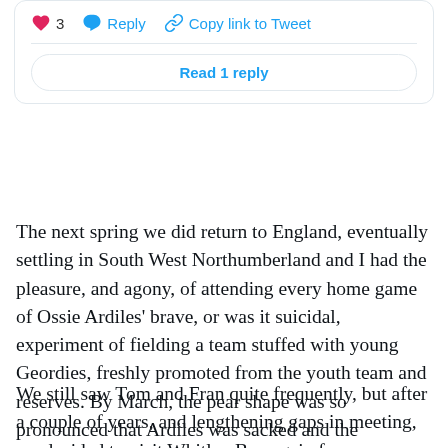3  Reply  Copy link to Tweet
Read 1 reply
The next spring we did return to England, eventually settling in South West Northumberland and I had the pleasure, and agony, of attending every home game of Ossie Ardiles' brave, or was it suicidal, experiment of fielding a team stuffed with young Geordies, freshly promoted from the youth team and reserves. By March, the pear shape was so pronounced that Ardiles was sacked and the Messiah, Keegan, was wheeled in to only just avoid a disastrous relegation.
We still saw Tom and Fran quite frequently, but after a couple of years, and lengthening gaps in meeting, we decided to visit Whitley Bay again for a weekend.